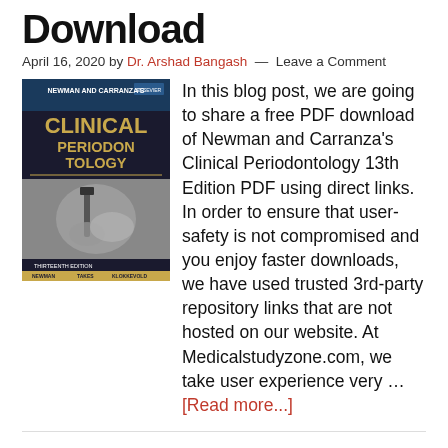Download
April 16, 2020 by Dr. Arshad Bangash — Leave a Comment
[Figure (photo): Book cover of Newman and Carranza's Clinical Periodontology, Thirteenth Edition]
In this blog post, we are going to share a free PDF download of Newman and Carranza's Clinical Periodontology 13th Edition PDF using direct links. In order to ensure that user-safety is not compromised and you enjoy faster downloads, we have used trusted 3rd-party repository links that are not hosted on our website. At Medicalstudyzone.com, we take user experience very … [Read more...]